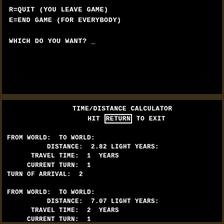[Figure (screenshot): Top black terminal screen showing game quit/end options and prompt: 'R=QUIT (YOU LEAVE GAME)', 'E=END GAME (FOR EVERYBODY)', 'WHICH DO YOU WANT? _']
[Figure (screenshot): Bottom black terminal screen showing TIME/DISTANCE CALCULATOR with three route calculations each showing FROM WORLD, TO WORLD, DISTANCE in light years, TRAVEL TIME in years, CURRENT TURN, and TURN OF ARRIVAL. Values: 2.82 LY / 1 yr / turn 1 / arrival 2; 7.07 LY / 2 yr / turn 1 / arrival 3; 8.24 LY / 3 yr / turn 1 / arrival 4. Final prompt: FROM WORLD: _]